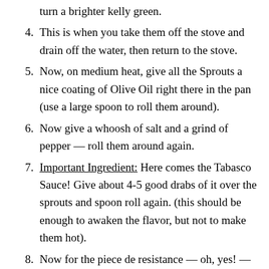turn a brighter kelly green.
This is when you take them off the stove and drain off the water, then return to the stove.
Now, on medium heat, give all the Sprouts a nice coating of Olive Oil right there in the pan (use a large spoon to roll them around).
Now give a whoosh of salt and a grind of pepper — roll them around again.
Important Ingredient: Here comes the Tabasco Sauce! Give about 4-5 good drabs of it over the sprouts and spoon roll again. (this should be enough to awaken the flavor, but not to make them hot).
Now for the piece de resistance — oh, yes! — time